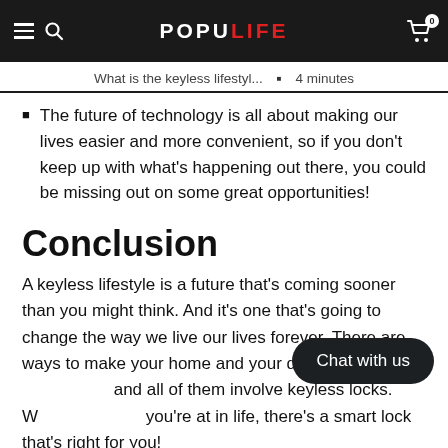POPULIFE (navigation bar with hamburger, search, cart)
What is the keyless lifestyl... • 4 minutes
The future of technology is all about making our lives easier and more convenient, so if you don't keep up with what's happening out there, you could be missing out on some great opportunities!
Conclusion
A keyless lifestyle is a future that's coming sooner than you might think. And it's one that's going to change the way we live our lives forever. There are ways to make your home and your daily life more convenient, and all of them involve keyless locks. Whatever stage you're at in life, there's a smart lock that's right for you!